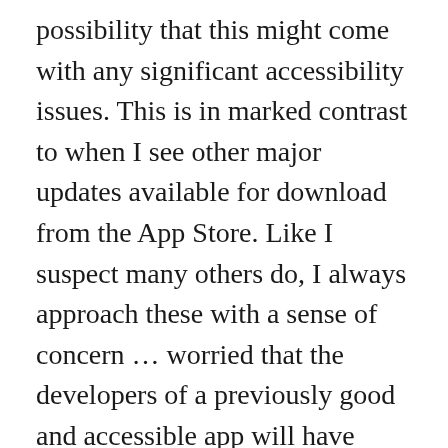possibility that this might come with any significant accessibility issues. This is in marked contrast to when I see other major updates available for download from the App Store. Like I suspect many others do, I always approach these with a sense of concern ... worried that the developers of a previously good and accessible app will have dropped the ball.
But, surely this couldn't happen with a BBC app, could it?